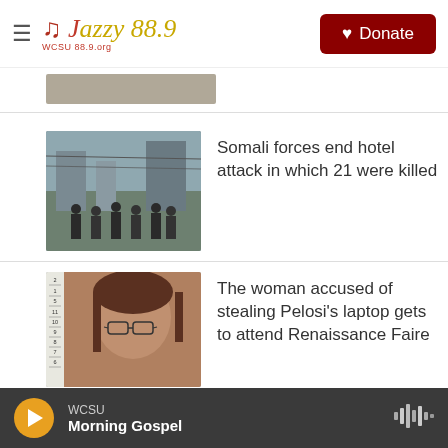Jazzy 88.9 — WCSU 88.9
[Figure (photo): Partially visible news article thumbnail at top]
Somali forces end hotel attack in which 21 were killed
[Figure (photo): Street scene with military/armed forces personnel]
The woman accused of stealing Pelosi's laptop gets to attend Renaissance Faire
[Figure (photo): Mugshot-style photo of a woman with glasses next to a ruler]
Opinion: That unbelievable street violinist could just be a 'finger syncer'
[Figure (photo): Black and white photo partially visible]
WCSU Morning Gospel